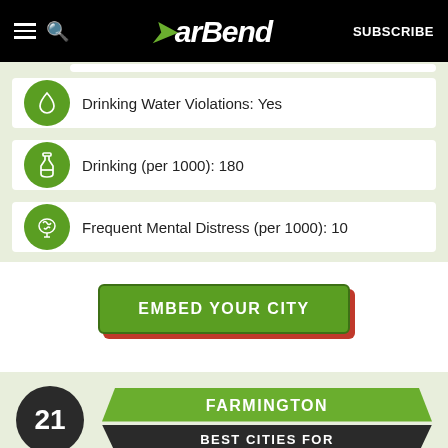BarBend — SUBSCRIBE
Drinking Water Violations: Yes
Drinking (per 1000): 180
Frequent Mental Distress (per 1000): 10
EMBED YOUR CITY
21 — FARMINGTON — BEST CITIES FOR